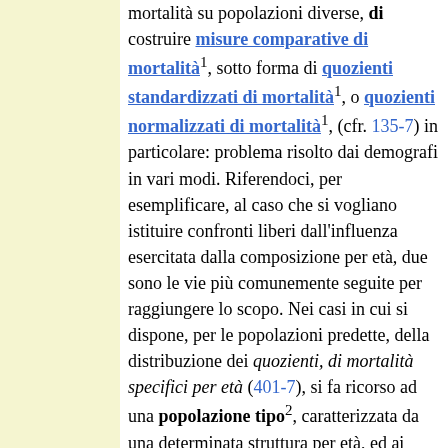mortalità su popolazioni diverse, di costruire misure comparative di mortalità¹, sotto forma di quozienti standardizzati di mortalità¹, o quozienti normalizzati di mortalità¹, (cfr. 135-7) in particolare: problema risolto dai demografi in vari modi. Riferendoci, per esemplificare, al caso che si vogliano istituire confronti liberi dall'influenza esercitata dalla composizione per età, due sono le vie più comunemente seguite per raggiungere lo scopo. Nei casi in cui si dispone, per le popolazioni predette, della distribuzione dei quozienti, di mortalità specifici per età (401-7), si fa ricorso ad una popolazione tipo², caratterizzata da una determinata struttura per età, ed ai viventi (323-1*) nelle diverse classi d'età della medesima